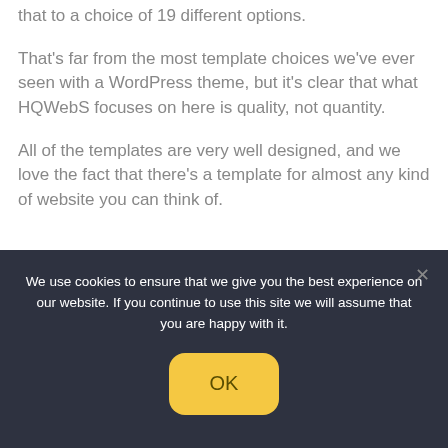that to a choice of 19 different options.
That's far from the most template choices we've ever seen with a WordPress theme, but it's clear that what HQWebS focuses on here is quality, not quantity.
All of the templates are very well designed, and we love the fact that there's a template for almost any kind of website you can think of.
We use cookies to ensure that we give you the best experience on our website. If you continue to use this site we will assume that you are happy with it.